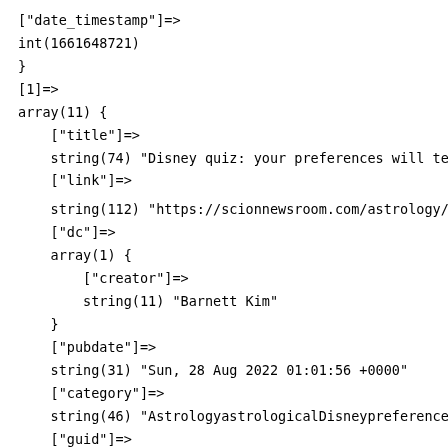["date_timestamp"]=>
int(1661648721)
}
[1]=>
array(11) {
    ["title"]=>
    string(74) "Disney quiz: your preferences will tell
    ["link"]=>
    string(112) "https://scionnewsroom.com/astrology/di
    ["dc"]=>
    array(1) {
        ["creator"]=>
        string(11) "Barnett Kim"
    }
    ["pubdate"]=>
    string(31) "Sun, 28 Aug 2022 01:01:56 +0000"
    ["category"]=>
    string(46) "AstrologyastrologicalDisneypreferencesc
    ["guid"]=>
    string(34) "https://scionnewsroom.com/?p=11363"
    ["description"]=>
    string(671) "Published on August 27, 2022 11:00By P
    ["content"]=>
    array(1) {
        ["encoded"]=>
        string(17816) "